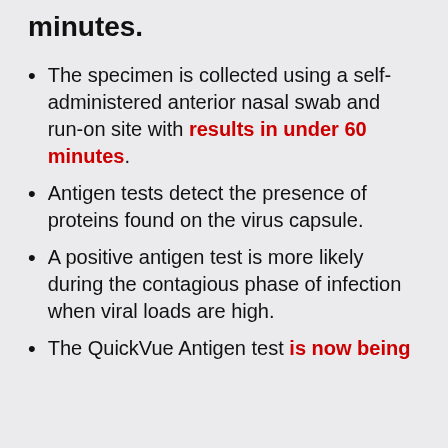minutes.
The specimen is collected using a self-administered anterior nasal swab and run-on site with results in under 60 minutes.
Antigen tests detect the presence of proteins found on the virus capsule.
A positive antigen test is more likely during the contagious phase of infection when viral loads are high.
The QuickVue Antigen test is now being